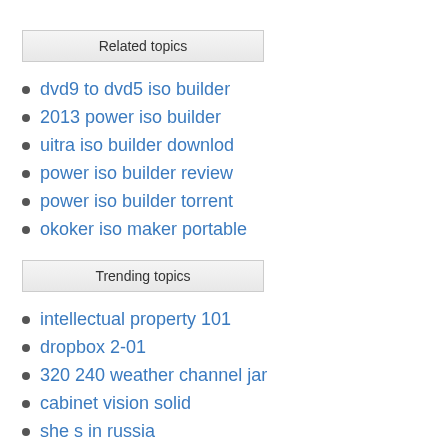Related topics
dvd9 to dvd5 iso builder
2013 power iso builder
uitra iso builder downlod
power iso builder review
power iso builder torrent
okoker iso maker portable
Trending topics
intellectual property 101
dropbox 2-01
320 240 weather channel jar
cabinet vision solid
she s in russia
mod bus proteus gta sa
nds jar download
sfz to sf2
presonus capture osx
gta sa pamola andorson mod